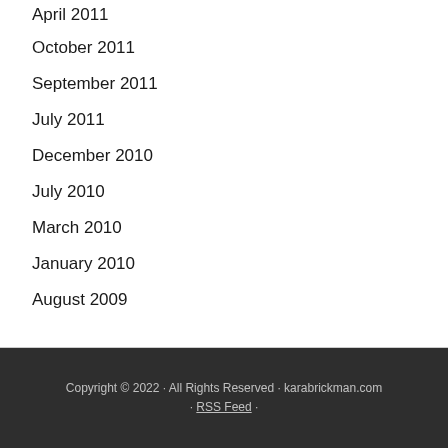April 2011
October 2011
September 2011
July 2011
December 2010
July 2010
March 2010
January 2010
August 2009
Copyright © 2022 · All Rights Reserved · karabrickman.com · RSS Feed ·